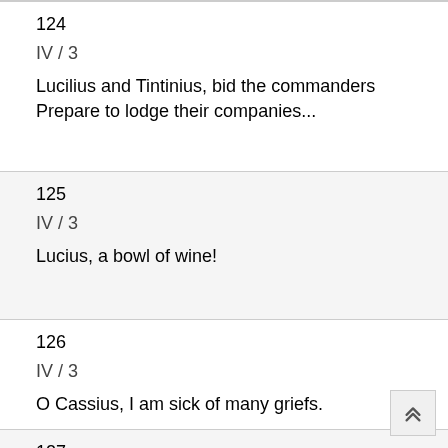124
IV / 3
Lucilius and Tintinius, bid the commanders Prepare to lodge their companies...
125
IV / 3
Lucius, a bowl of wine!
126
IV / 3
O Cassius, I am sick of many griefs.
127